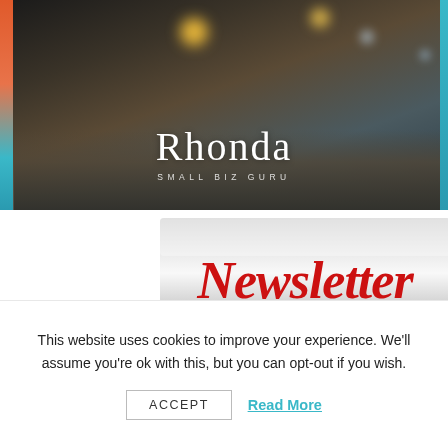[Figure (photo): Dark atmospheric photo with bokeh lights (ants/insects on dark ground), with a cursive signature 'Rhonda' and text 'SMALL BIZ GURU' overlaid. Colored left border in orange/teal gradient and right border in teal.]
[Figure (illustration): Illustration of a metallic/chrome newsletter stand/holder with bold red italic 'Newsletter' text on it, on white background.]
This website uses cookies to improve your experience. We'll assume you're ok with this, but you can opt-out if you wish.
ACCEPT   Read More